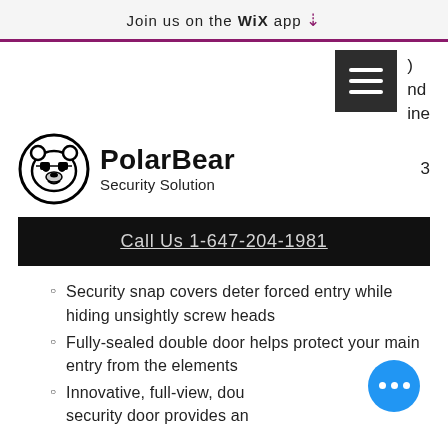Join us on the WiX app ⬇
[Figure (other): Hamburger menu icon (dark square with three white lines) and partial navigation text 'nd ine' visible to the right]
[Figure (logo): PolarBear Security Solution logo: polar bear face in circular frame with text 'PolarBear Security Solution']
Call Us 1-647-204-1981
Security snap covers deter forced entry while hiding unsightly screw heads
Fully-sealed double door helps protect your main entry from the elements
Innovative, full-view, dou… security door provides an…